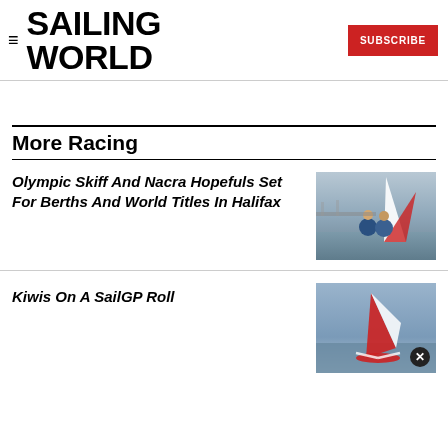SAILING WORLD
More Racing
Olympic Skiff And Nacra Hopefuls Set For Berths And World Titles In Halifax
[Figure (photo): Two sailors in blue jackets working on a sailing vessel near water]
Kiwis On A SailGP Roll
[Figure (photo): A high-speed foiling sailboat (SailGP) on grey water, viewed from above]